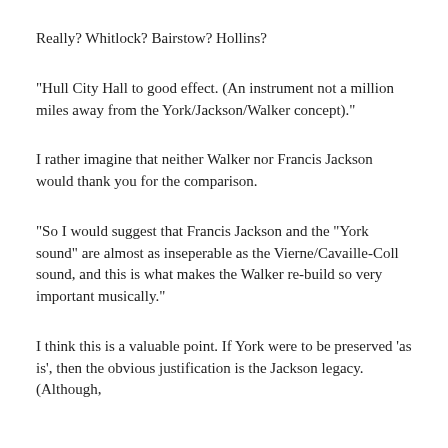Really? Whitlock? Bairstow? Hollins?
"Hull City Hall to good effect. (An instrument not a million miles away from the York/Jackson/Walker concept)."
I rather imagine that neither Walker nor Francis Jackson would thank you for the comparison.
"So I would suggest that Francis Jackson and the "York sound" are almost as inseperable as the Vierne/Cavaille-Coll sound, and this is what makes the Walker re-build so very important musically."
I think this is a valuable point. If York were to be preserved 'as is', then the obvious justification is the Jackson legacy. (Although,